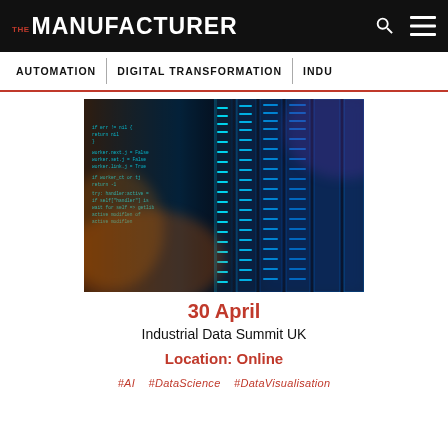THE MANUFACTURER
AUTOMATION | DIGITAL TRANSFORMATION | INDU
[Figure (photo): Data centre server racks with blue LED lighting and code overlay on the left side]
30 April
Industrial Data Summit UK
Location: Online
#AI   #DataScience   #DataVisualisation